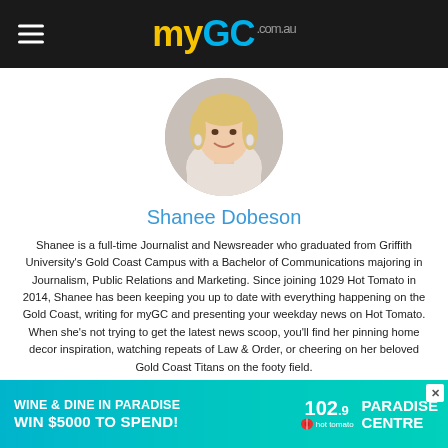myGC.com.au
[Figure (photo): Circular profile photo of Shanee Dobeson, a blonde woman smiling, wearing earrings, against a light grey background.]
Shanee Dobeson
Shanee is a full-time Journalist and Newsreader who graduated from Griffith University's Gold Coast Campus with a Bachelor of Communications majoring in Journalism, Public Relations and Marketing. Since joining 1029 Hot Tomato in 2014, Shanee has been keeping you up to date with everything happening on the Gold Coast, writing for myGC and presenting your weekday news on Hot Tomato. When she's not trying to get the latest news scoop, you'll find her pinning home decor inspiration, watching repeats of Law & Order, or cheering on her beloved Gold Coast Titans on the footy field.
[Figure (infographic): Advertisement banner: WINE & DINE IN PARADISE Win $5000 to spend! with 102.9 Hot Tomato and Paradise Centre logos on a teal/turquoise background.]